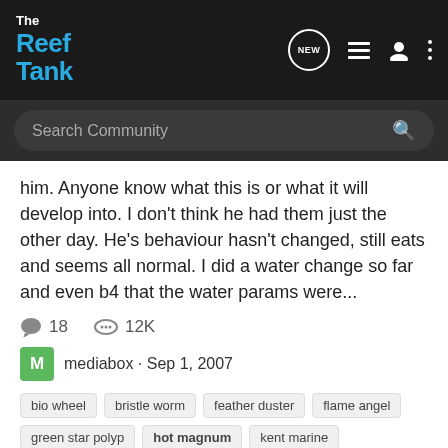The Reef Tank
him. Anyone know what this is or what it will develop into. I don't think he had them just the other day. He's behaviour hasn't changed, still eats and seems all normal. I did a water change so far and even b4 that the water params were...
18  12K
M  mediabox · Sep 1, 2007
bio wheel  bristle worm  feather duster  flame angel  green star polyp  hot magnum  kent marine  purple tang  quarantine tank  red sea purple tang  skunk cleaner shrimp  star fish  star polyp  white cheek tang
Water Clarification Products?
General Reef Discussion